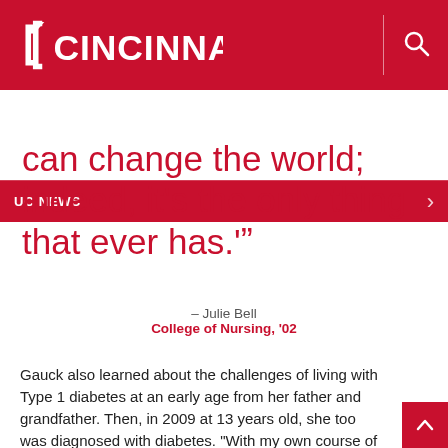[Figure (logo): University of Cincinnati logo and header bar with UC CINCINNATI text in white on red background]
UC NEWS
can change the world; indeed, it's the only thing that ever has.'
– Julie Bell
College of Nursing, '02
Gauck also learned about the challenges of living with Type 1 diabetes at an early age from her father and grandfather. Then, in 2009 at 13 years old, she too was diagnosed with diabetes. "With my own course of